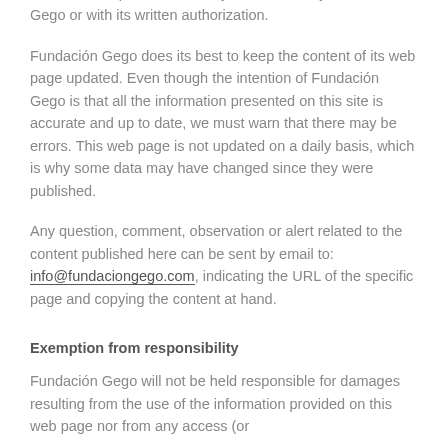terms here expressed can only be modified by Fundación Gego or with its written authorization.
Fundación Gego does its best to keep the content of its web page updated. Even though the intention of Fundación Gego is that all the information presented on this site is accurate and up to date, we must warn that there may be errors. This web page is not updated on a daily basis, which is why some data may have changed since they were published.
Any question, comment, observation or alert related to the content published here can be sent by email to: info@fundaciongego.com, indicating the URL of the specific page and copying the content at hand.
Exemption from responsibility
Fundación Gego will not be held responsible for damages resulting from the use of the information provided on this web page nor from any access (or